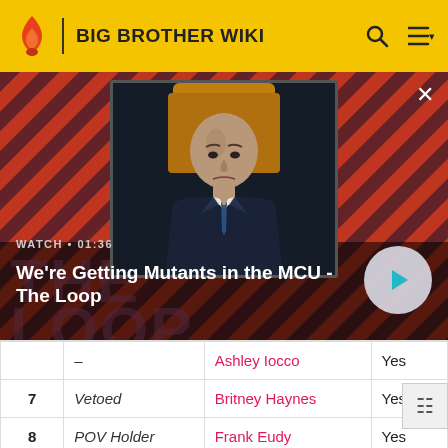BIG BROTHER WIKI
[Figure (screenshot): Video player banner showing a bald man in a suit seated in a chair, with diagonal red/dark stripe background. Overlay text: WATCH • 01:36 / We're Getting Mutants in the MCU - The Loop. Play button on right.]
| # | Status | Name | Veto Used |
| --- | --- | --- | --- |
| – | – | Ashley Iocco | Yes |
| 7 | Vetoed | Britney Haynes | Yes |
| 8 | POV Holder | Frank Eudy | Yes |
|  | HOH | – | – |